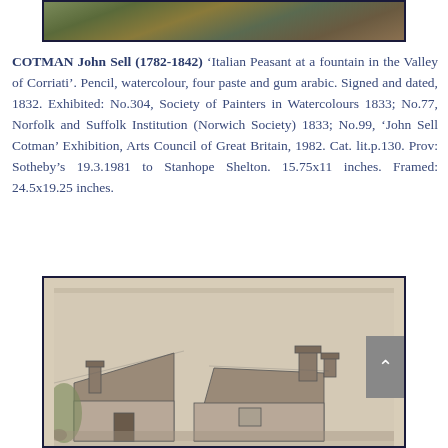[Figure (photo): Top portion of a painting visible above text, showing landscape colors in greens and browns, cropped at the bottom of the frame.]
COTMAN John Sell (1782-1842) ‘Italian Peasant at a fountain in the Valley of Corriati’. Pencil, watercolour, four paste and gum arabic. Signed and dated, 1832. Exhibited: No.304, Society of Painters in Watercolours 1833; No.77, Norfolk and Suffolk Institution (Norwich Society) 1833; No.99, ‘John Sell Cotman’ Exhibition, Arts Council of Great Britain, 1982. Cat. lit.p.130. Prov: Sotheby’s 19.3.1981 to Stanhope Shelton. 15.75x11 inches. Framed: 24.5x19.25 inches.
[Figure (photo): Bottom portion of a pencil sketch showing rooftops of cottages with chimneys, drawn in pencil on beige/cream paper.]